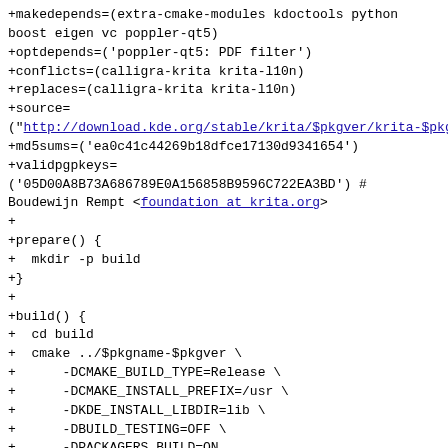+makedepends=(extra-cmake-modules kdoctools python boost eigen vc poppler-qt5)
+optdepends=('poppler-qt5: PDF filter')
+conflicts=(calligra-krita krita-l10n)
+replaces=(calligra-krita krita-l10n)
+source=
("http://download.kde.org/stable/krita/$pkgver/krita-$pkg
+md5sums=('ea0c41c44269b18dfce17130d9341654')
+validpgpkeys=
('05D00A8B73A686789E0A156858B9596C722EA3BD') #
Boudewijn Rempt <foundation at krita.org>
+
+prepare() {
+  mkdir -p build
+}
+
+build() {
+  cd build
+  cmake ../$pkgname-$pkgver \
+      -DCMAKE_BUILD_TYPE=Release \
+      -DCMAKE_INSTALL_PREFIX=/usr \
+      -DKDE_INSTALL_LIBDIR=lib \
+      -DBUILD_TESTING=OFF \
+      -DPACKAGERS_BUILD=ON
+  make
+}
+
+package() {
+  cd build
+  make DESTDIR="$pkgdir" install